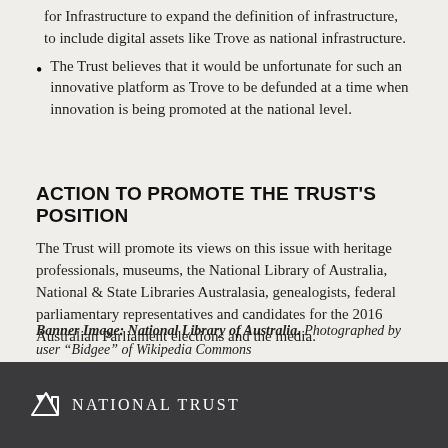for Infrastructure to expand the definition of infrastructure, to include digital assets like Trove as national infrastructure.
The Trust believes that it would be unfortunate for such an innovative platform as Trove to be defunded at a time when innovation is being promoted at the national level.
ACTION TO PROMOTE THE TRUST'S POSITION
The Trust will promote its views on this issue with heritage professionals, museums, the National Library of Australia, National & State Libraries Australasia, genealogists, federal parliamentary representatives and candidates for the 2016 Australian Parliament elections and the media.
Banner Image: National Library of Australia. Photographed by user “Bidgee” of Wikipedia Commons
National Trust